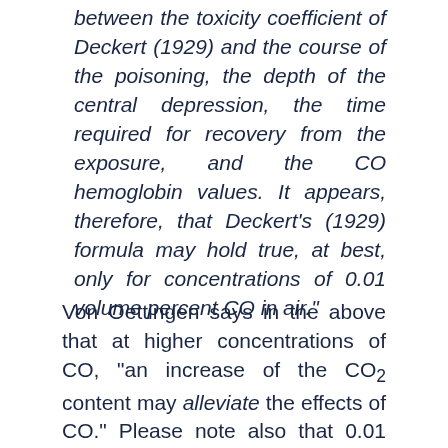between the toxicity coefficient of Deckert (1929) and the course of the poisoning, the depth of the central depression, the time required for recovery from the exposure, and the CO hemoglobin values. It appears, therefore, that Deckert's (1929) formula may hold true, at best, only for concentrations of 0.01 volume percent CO in air."
Von Oettingen says in the above that at higher concentrations of CO, "an increase of the CO2 content may alleviate the effects of CO." Please note also that 0.01 percent CO is far below the levels needed to kill in half-an-hour according to Haldane and medi generally. This all flies in the face of Deckert's